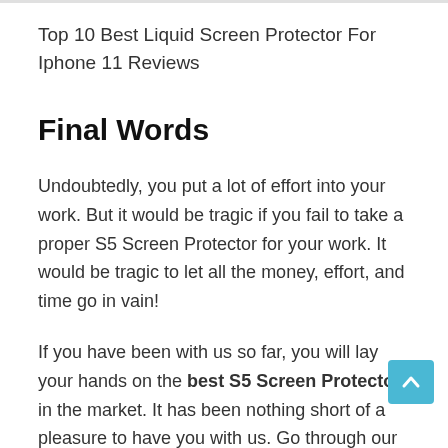Top 10 Best Liquid Screen Protector For Iphone 11 Reviews
Final Words
Undoubtedly, you put a lot of effort into your work. But it would be tragic if you fail to take a proper S5 Screen Protector for your work. It would be tragic to let all the money, effort, and time go in vain!
If you have been with us so far, you will lay your hands on the best S5 Screen Protector in the market. It has been nothing short of a pleasure to have you with us. Go through our buying guide if you are following this, you will get lots of clues about this product, and then visit the product review